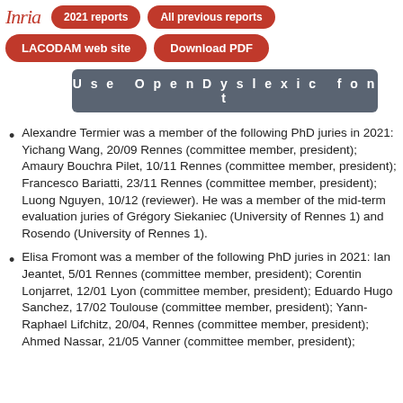Inria | 2021 reports | All previous reports | LACODAM web site | Download PDF
Use OpenDyslexic font
Alexandre Termier was a member of the following PhD juries in 2021: Yichang Wang, 20/09 Rennes (committee member, president); Amaury Bouchra Pilet, 10/11 Rennes (committee member, president); Francesco Bariatti, 23/11 Rennes (committee member, president); Luong Nguyen, 10/12 (reviewer). He was a member of the mid-term evaluation juries of Grégory Siekaniec (University of Rennes 1) and Rosendo (University of Rennes 1).
Elisa Fromont was a member of the following PhD juries in 2021: Ian Jeantet, 5/01 Rennes (committee member, president); Corentin Lonjarret, 12/01 Lyon (committee member, president); Eduardo Hugo Sanchez, 17/02 Toulouse (committee member, president); Yann-Raphael Lifchitz, 20/04, Rennes (committee member, president); Ahmed Nassar, 21/05 Vanner (committee member, president);